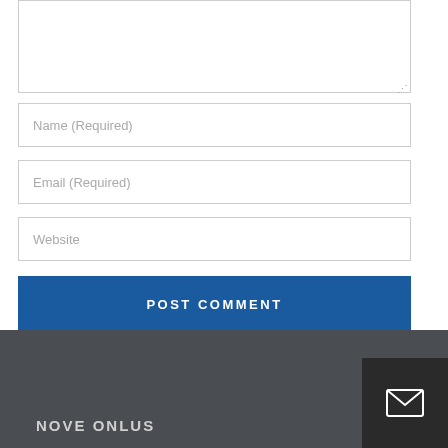[Figure (screenshot): Textarea input box (partially shown at top, with resize handle)]
Name (Required)
Email (Required)
Website
POST COMMENT
NOVE ONLUS